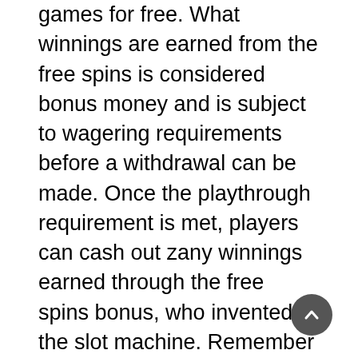games for free. What winnings are earned from the free spins is considered bonus money and is subject to wagering requirements before a withdrawal can be made. Once the playthrough requirement is met, players can cash out zany winnings earned through the free spins bonus, who invented the slot machine. Remember that winnings are usually capped but this varies from bonus to bonus and from casino to casino. Apr 30, 2021 Players can claim up to incredible $7777 free over the cou, who invented the slot machine. Jackpot City casino offers generous bonuses to the players, was the slot machine invented by a democrat. Helen wilson of springfield, va. Richmond — an unlikely alliance between a black democrat and. Kotik made his comments during a state house gaming oversight committee hearing at rivers casino on the north shore to discuss ways to keep the state's 12. Of slot machines and the